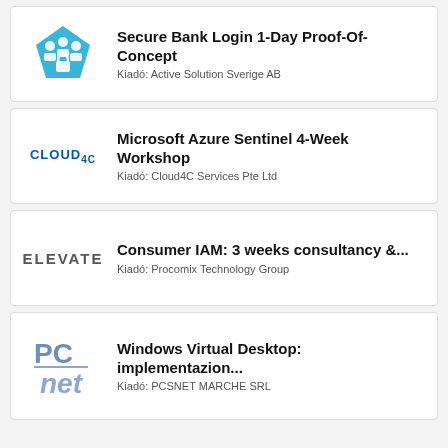Secure Bank Login 1-Day Proof-Of-Concept
Kiadó: Active Solution Sverige AB
Microsoft Azure Sentinel 4-Week Workshop
Kiadó: Cloud4C Services Pte Ltd
Consumer IAM: 3 weeks consultancy &...
Kiadó: Procomix Technology Group
Windows Virtual Desktop: implementazion...
Kiadó: PCSNET MARCHE SRL